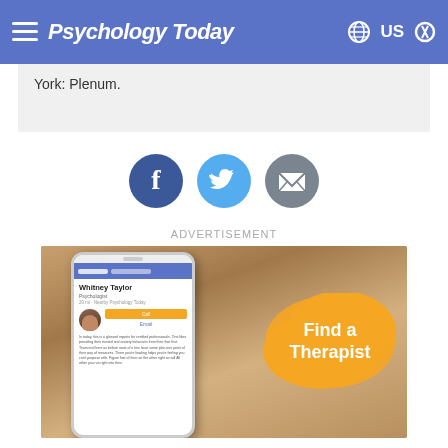Psychology Today
York: Plenum.
[Figure (infographic): Three social sharing buttons: Facebook (dark blue circle with 'f' icon), Twitter (light blue circle with bird icon), Email (grey circle with envelope icon)]
ADVERTISEMENT
[Figure (photo): Advertisement image showing a person holding a smartphone displaying a therapist profile page for Whitney Taylor, with an orange blob overlay reading 'Find a Therapist']